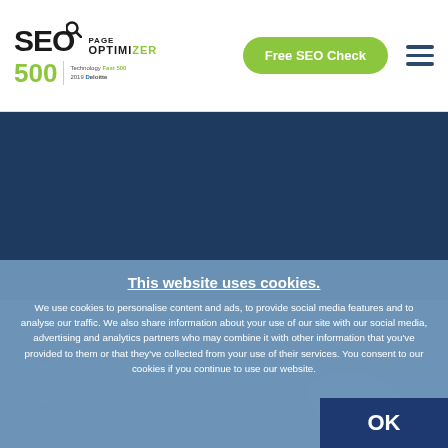[Figure (logo): SEO Page Optimizer logo with magnifying glass icon, '500' in green, Technology Fast 500 2019 Deloitte badge]
Free SEO Check
[Figure (illustration): Dark navy blue hero section background]
Search Engines
► Google Ranking
► Marketing
This website uses cookies.
We use cookies to personalise content and ads, to provide social media features and to analyse our traffic. We also share information about your use of our site with our social media, advertising and analytics partners who may combine it with other information that you've provided to them or that they've collected from your use of their services. You consent to our cookies if you continue to use our website.
OK